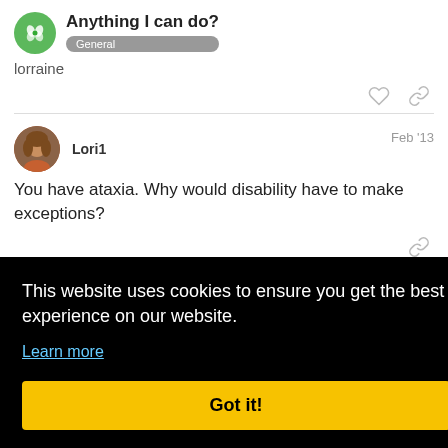Anything I can do?
General
lorraine
Lori1   Feb '13
You have ataxia. Why would disability have to make exceptions?
Feb '13
This website uses cookies to ensure you get the best experience on our website.
Learn more
Got it!
he/she might still treat you while you are